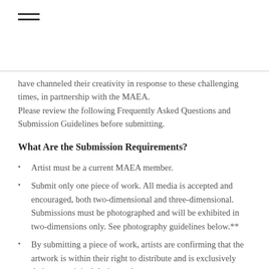[Figure (other): Hamburger menu icon with two horizontal lines]
have channeled their creativity in response to these challenging times, in partnership with the MAEA.
Please review the following Frequently Asked Questions and Submission Guidelines before submitting.
What Are the Submission Requirements?
Artist must be a current MAEA member.
Submit only one piece of work. All media is accepted and encouraged, both two-dimensional and three-dimensional. Submissions must be photographed and will be exhibited in two-dimensions only. See photography guidelines below.**
By submitting a piece of work, artists are confirming that the artwork is within their right to distribute and is exclusively their own original design and concept.